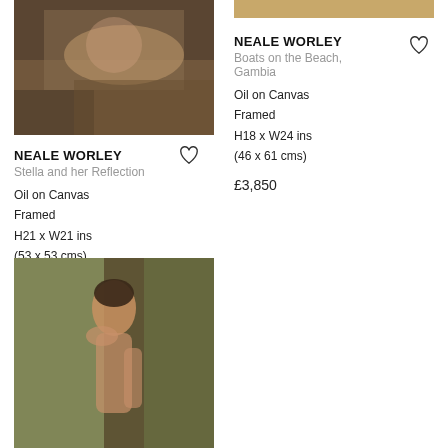[Figure (photo): Painting by Neale Worley: Stella and her Reflection, showing a reclining figure with warm tones]
NEALE WORLEY
Stella and her Reflection
Oil on Canvas
Framed
H21 x W21 ins
(53 x 53 cms)
£3,600
[Figure (photo): Strip of a painting showing sand/beach tones at top of right column]
NEALE WORLEY
Boats on the Beach, Gambia
Oil on Canvas
Framed
H18 x W24 ins
(46 x 61 cms)
£3,850
[Figure (photo): Painting by Neale Worley: figure study, a young woman with short dark hair, nude torso, draped fabric background]